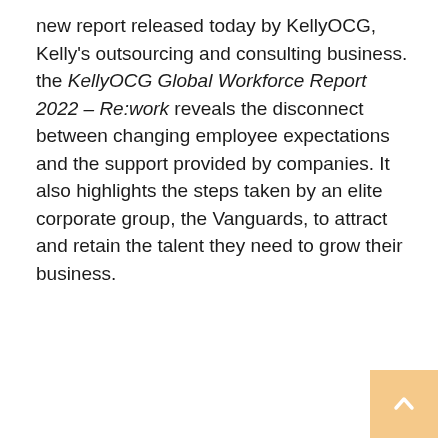new report released today by KellyOCG, Kelly's outsourcing and consulting business. the KellyOCG Global Workforce Report 2022 – Re:work reveals the disconnect between changing employee expectations and the support provided by companies. It also highlights the steps taken by an elite corporate group, the Vanguards, to attract and retain the talent they need to grow their business.